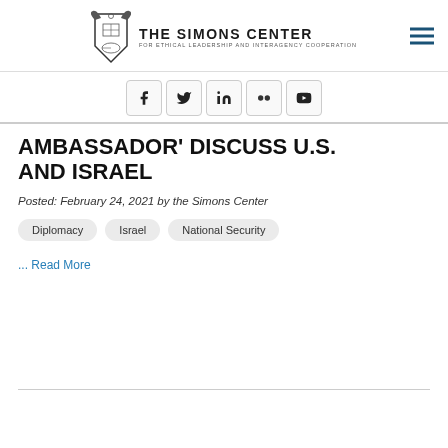[Figure (logo): The Simons Center for Ethical Leadership and Interagency Cooperation logo with emblem and text]
[Figure (infographic): Social media icons: Facebook, Twitter, LinkedIn, Flickr, YouTube]
AMBASSADOR' DISCUSS U.S. AND ISRAEL
Posted: February 24, 2021 by the Simons Center
Diplomacy
Israel
National Security
... Read More